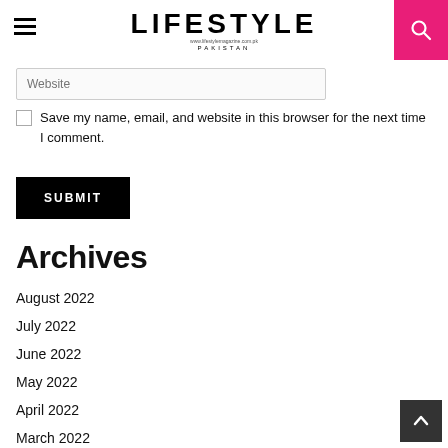LIFESTYLE PAKISTAN
Website
Save my name, email, and website in this browser for the next time I comment.
SUBMIT
Archives
August 2022
July 2022
June 2022
May 2022
April 2022
March 2022
March 2018